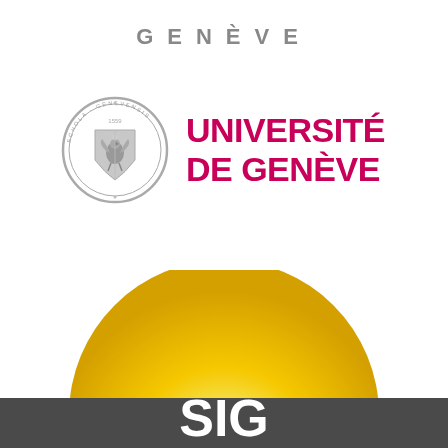[Figure (logo): Text 'GENEVE' in spaced gray capital letters at the top of the page]
[Figure (logo): University of Geneva logo: circular gray seal/crest on the left and bold magenta/pink text 'UNIVERSITÉ DE GENÈVE' on the right]
[Figure (logo): SIG (Services Industriels de Genève) logo: large yellow semicircle with white glowing center above a dark gray horizontal band with white text 'SIG']